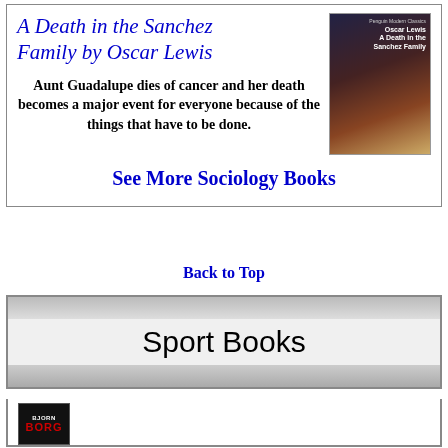A Death in the Sanchez Family by Oscar Lewis
Aunt Guadalupe dies of cancer and her death becomes a major event for everyone because of the things that have to be done.
[Figure (photo): Book cover of A Death in the Sanchez Family by Oscar Lewis, Penguin Modern Classics edition, showing a colorful painting]
See More Sociology Books
Back to Top
Sport Books
[Figure (photo): Book cover showing BJORN BORG in red text on black background]